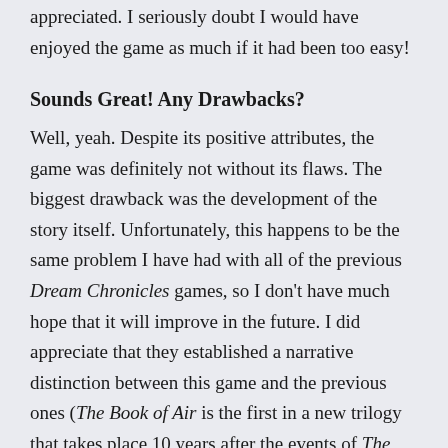appreciated. I seriously doubt I would have enjoyed the game as much if it had been too easy!
Sounds Great! Any Drawbacks?
Well, yeah. Despite its positive attributes, the game was definitely not without its flaws. The biggest drawback was the development of the story itself. Unfortunately, this happens to be the same problem I have had with all of the previous Dream Chronicles games, so I don't have much hope that it will improve in the future. I did appreciate that they established a narrative distinction between this game and the previous ones (The Book of Air is the first in a new trilogy that takes place 10 years after the events of The Chosen Child). The game also saw the arrival of a new protagonist: Lyra, the half-mortal and half-fairy daughter of Faye. This was a smart move on the part of the developers, as it introduced freshness into the series, and also allowed the developers to do more with the